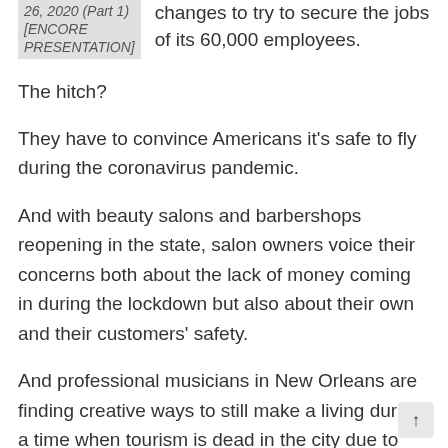26, 2020 (Part 1) [ENCORE PRESENTATION]   changes to try to secure the jobs of its 60,000 employees.
The hitch?
They have to convince Americans it's safe to fly during the coronavirus pandemic.
And with beauty salons and barbershops reopening in the state, salon owners voice their concerns both about the lack of money coming in during the lockdown but also about their own and their customers' safety.
And professional musicians in New Orleans are finding creative ways to still make a living during a time when tourism is dead in the city due to